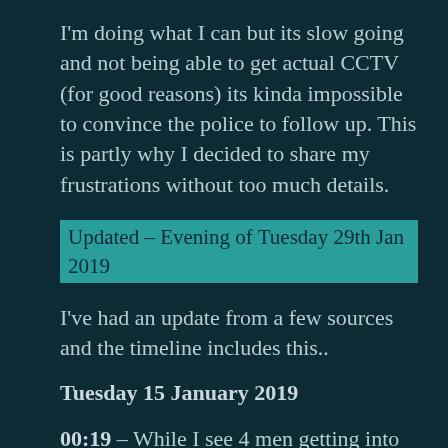I'm doing what I can but its slow going and not being able to get actual CCTV (for good reasons) its kinda impossible to convince the police to follow up. This is partly why I decided to share my frustrations without too much details.
Updated – Evening of Tuesday 29th Jan 2019
I've had an update from a few sources and the timeline includes this..
Tuesday 15 January 2019
00:19 – While I see 4 men getting into Islington Wharf Mews, another man also dressed in black from head to toe is trying to